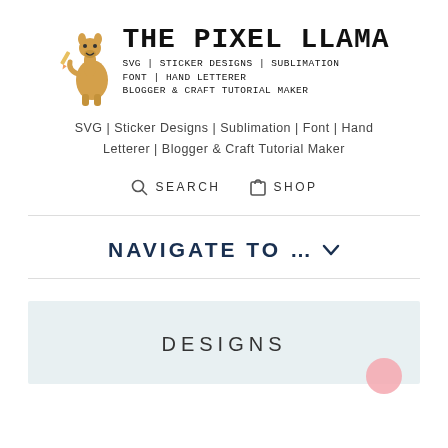[Figure (logo): The Pixel Llama logo with cartoon llama character and text: THE PIXEL LLAMA, SVG | STICKER DESIGNS | SUBLIMATION, FONT | HAND LETTERER, BLOGGER & CRAFT TUTORIAL MAKER]
SVG | Sticker Designs | Sublimation | Font | Hand Letterer | Blogger & Craft Tutorial Maker
SEARCH   SHOP
NAVIGATE TO ... ∨
DESIGNS